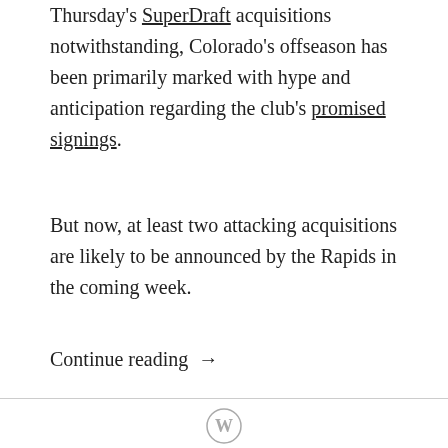Thursday's SuperDraft acquisitions notwithstanding, Colorado's offseason has been primarily marked with hype and anticipation regarding the club's promised signings.
But now, at least two attacking acquisitions are likely to be announced by the Rapids in the coming week.
Continue reading →
[Figure (logo): WordPress logo icon — circular W emblem in gray]